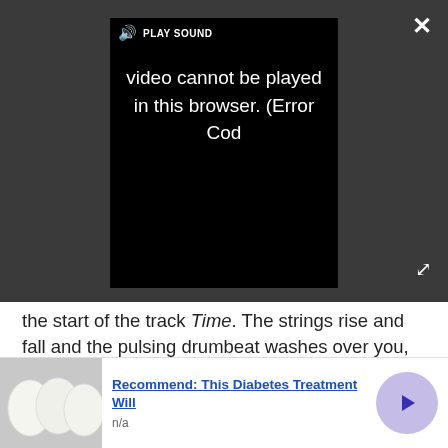[Figure (screenshot): Video player overlay on dark grey background showing 'PLAY SOUND' bar with speaker icon, black video area with text 'Video cannot be played in this browser. (Error Cod', a close X button top right, and expand arrows bottom right.]
the start of the track Time. The strings rise and fall and the pulsing drumbeat washes over you, wave after wave with great conviction from the JBL’s, but you get greater tonal finesse from the top pairs at the money and a greater sense of emotion.
Comfort
[Figure (photo): Partial view of a circular headphone ear cup at the bottom of the frame.]
[Figure (screenshot): Advertisement banner: image of white eggs on the left, text 'Recommend: This Diabetes Treatment Will' in blue bold underlined, 'n/a' below, and a purple circular arrow button on the right. Close X button top right of ad.]